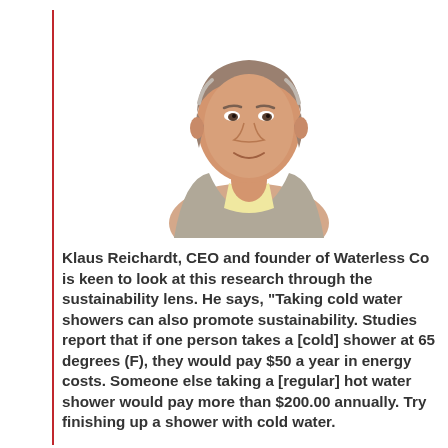[Figure (photo): Headshot photo of Klaus Reichardt, a middle-aged man with gray-brown hair wearing a light gray blazer and yellow shirt, smiling, on a white background.]
Klaus Reichardt, CEO and founder of Waterless Co is keen to look at this research through the sustainability lens. He says, “Taking cold water showers can also promote sustainability. Studies report that if one person takes a [cold] shower at 65 degrees (F), they would pay $50 a year in energy costs. Someone else taking a [regular] hot water shower would pay more than $200.00 annually. Try finishing up a shower with cold water.